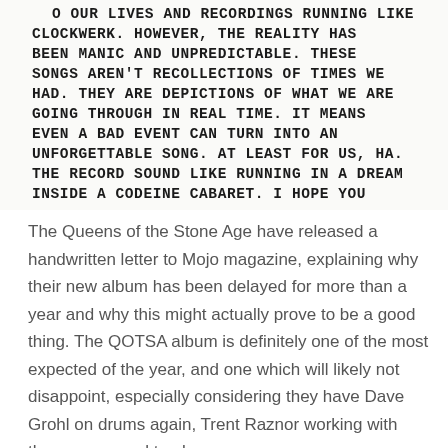[Figure (photo): Handwritten text in block capitals reading: 'O OUR LIVES AND RECORDINGS RUNNING LIKE CLOCKWERK. HOWEVER, THE REALITY HAS BEEN MANIC AND UNPREDICTABLE. THESE SONGS AREN'T RECOLLECTIONS OF TIMES WE HAD. THEY ARE DEPICTIONS OF WHAT WE ARE GOING THROUGH IN REAL TIME. IT MEANS EVEN A BAD EVENT CAN TURN INTO AN UNFORGETTABLE SONG. AT LEAST FOR US, HA. THE RECORD SOUND LIKE RUNNING IN A DREAM INSIDE A CODEINE CABARET. I HOPE YOU']
The Queens of the Stone Age have released a handwritten letter to Mojo magazine, explaining why their new album has been delayed for more than a year and why this might actually prove to be a good thing. The QOTSA album is definitely one of the most expected of the year, and one which will likely not disappoint, especially considering they have Dave Grohl on drums again, Trent Raznor working with them on several tracks...